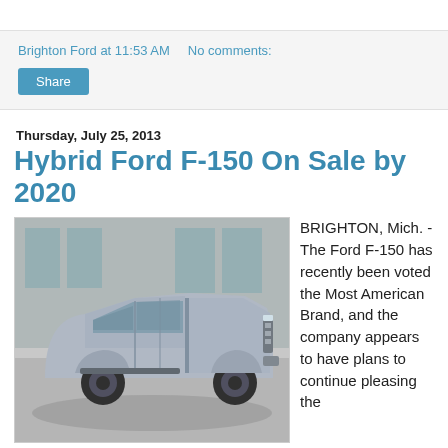Brighton Ford at 11:53 AM   No comments:
Share
Thursday, July 25, 2013
Hybrid Ford F-150 On Sale by 2020
[Figure (photo): Silver Ford F-150 truck concept parked in an industrial space with large windows]
BRIGHTON, Mich. - The Ford F-150 has recently been voted the Most American Brand, and the company appears to have plans to continue pleasing the American people by announcing that a Hybrid Ford F-150 will be on sale by 2020.